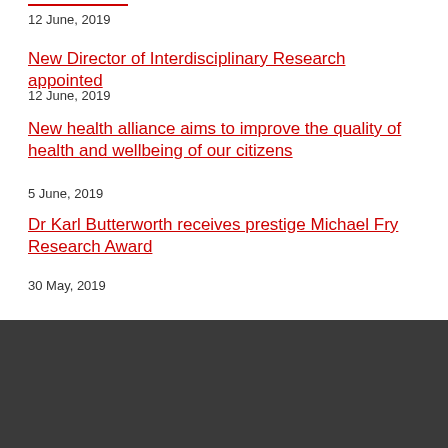12 June, 2019
New Director of Interdisciplinary Research appointed
12 June, 2019
New health alliance aims to improve the quality of health and wellbeing of our citizens
5 June, 2019
Dr Karl Butterworth receives prestige Michael Fry Research Award
30 May, 2019
[Figure (logo): Queen's University Belfast logo with red shield emblem and white text on dark background]